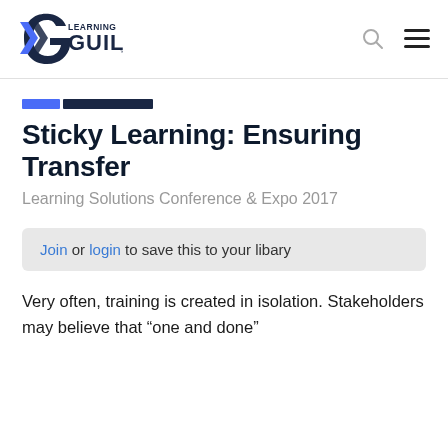[Figure (logo): Learning Guild logo — stylized G with blue and navy arrow shapes, text 'LEARNING GUILD' in dark navy]
Sticky Learning: Ensuring Transfer
Learning Solutions Conference & Expo 2017
Join or login to save this to your libary
Very often, training is created in isolation. Stakeholders may believe that “one and done”